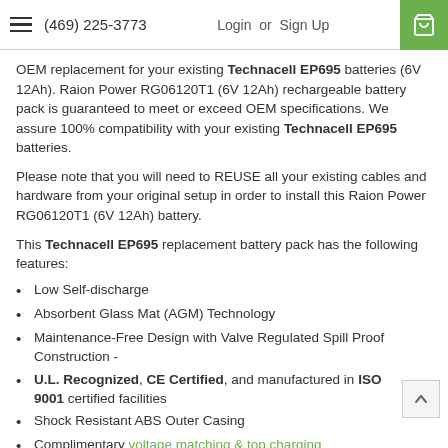(469) 225-3773  Login or Sign Up
OEM replacement for your existing Technacell EP695 batteries (6V 12Ah). Raion Power RG06120T1 (6V 12Ah) rechargeable battery pack is guaranteed to meet or exceed OEM specifications. We assure 100% compatibility with your existing Technacell EP695 batteries.
Please note that you will need to REUSE all your existing cables and hardware from your original setup in order to install this Raion Power RG06120T1 (6V 12Ah) battery.
This Technacell EP695 replacement battery pack has the following features:
Low Self-discharge
Absorbent Glass Mat (AGM) Technology
Maintenance-Free Design with Valve Regulated Spill Proof Construction -
U.L. Recognized, CE Certified, and manufactured in ISO 9001 certified facilities
Shock Resistant ABS Outer Casing
Complimentary voltage matching & top charging